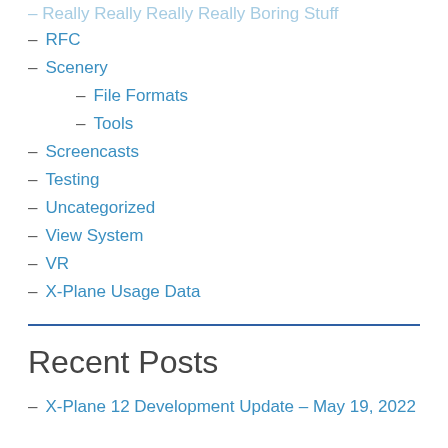– Really Really Really Really Boring Stuff
– RFC
– Scenery
– File Formats
– Tools
– Screencasts
– Testing
– Uncategorized
– View System
– VR
– X-Plane Usage Data
Recent Posts
– X-Plane 12 Development Update – May 19, 2022